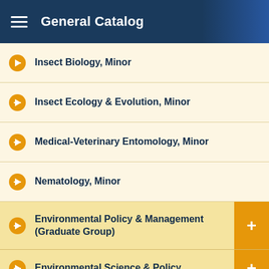General Catalog
Insect Biology, Minor
Insect Ecology & Evolution, Minor
Medical-Veterinary Entomology, Minor
Nematology, Minor
Environmental Policy & Management (Graduate Group)
Environmental Science & Policy
Environmental Toxicology